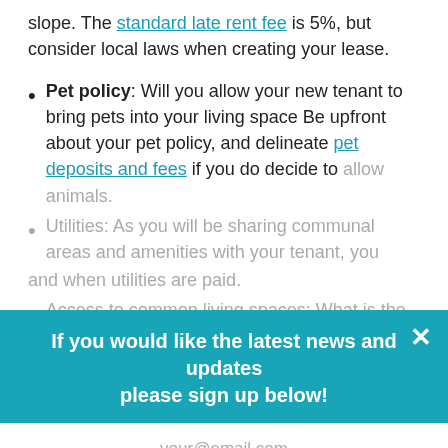slope. The standard late rent fee is 5%, but consider local laws when creating your lease.
Pet policy: Will you allow your new tenant to bring pets into your living space Be upfront about your pet policy, and delineate pet deposits and fees if you do decide to allow animals.
Utilities: As you will be sharing communal areas and amenities with your tenant, you
and when utilities are paid.
Access to common living spaces: What is the tenant's access to common spaces
[Figure (infographic): Email signup modal overlay with teal background. Text: 'If you would like the latest news and updates please sign up below!' with email input field and 'Signup Today' yellow button. Has X close button.]